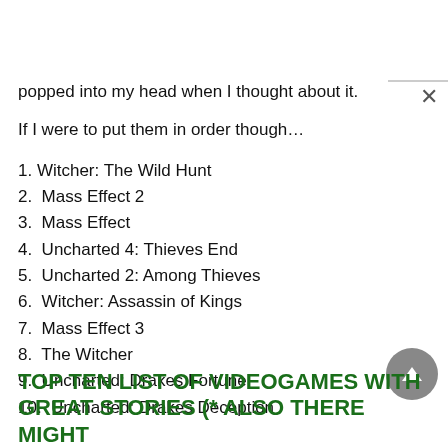popped into my head when I thought about it.
If I were to put them in order though…
1. Witcher: The Wild Hunt
2.  Mass Effect 2
3.  Mass Effect
4.  Uncharted 4: Thieves End
5.  Uncharted 2: Among Thieves
6.  Witcher: Assassin of Kings
7.  Mass Effect 3
8.  The Witcher
9.  Uncharted: Drakes Fortune
10.  Uncharted: Drakes Deception
TOP TEN LIST OF VIDEOGAMES WITH GREAT STORIES (* ALSO THERE MIGHT